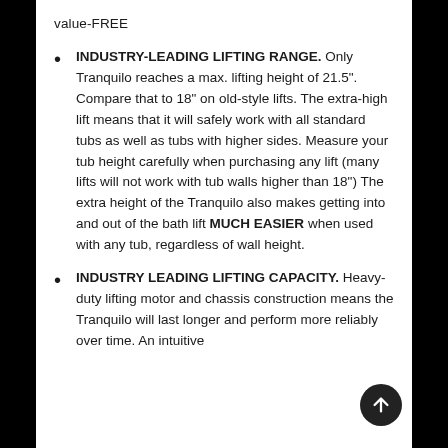value-FREE
INDUSTRY-LEADING LIFTING RANGE. Only Tranquilo reaches a max. lifting height of 21.5". Compare that to 18" on old-style lifts. The extra-high lift means that it will safely work with all standard tubs as well as tubs with higher sides. Measure your tub height carefully when purchasing any lift (many lifts will not work with tub walls higher than 18") The extra height of the Tranquilo also makes getting into and out of the bath lift MUCH EASIER when used with any tub, regardless of wall height.
INDUSTRY LEADING LIFTING CAPACITY. Heavy-duty lifting motor and chassis construction means the Tranquilo will last longer and perform more reliably over time. An intuitive